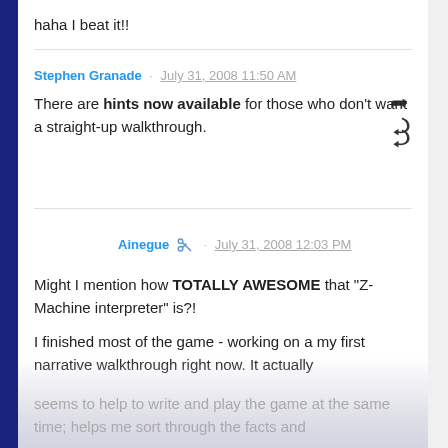haha I beat it!!
Stephen Granade · July 31, 2008 11:50 AM
There are hints now available for those who don't want a straight-up walkthrough.
Ainegue · July 31, 2008 12:03 PM
Might I mention how TOTALLY AWESOME that "Z-Machine interpreter" is?!
I finished most of the game - working on a my first narrative walkthrough right now. It actually seems to help to write and play the game at the same time; helps me sort through the facts and